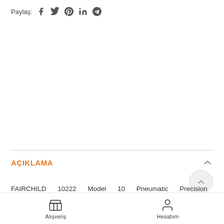Paylaş: [social icons: facebook, twitter, pinterest, linkedin, telegram]
AÇIKLAMA
FAIRCHILD 10222 Model 10 Pneumatic Precision Regulator. Pre Range: 0-10 psig . Pipe Size: 1/4" NPT . Sensitivity 1/8 in Water Column
Alışveriş | Hesabım